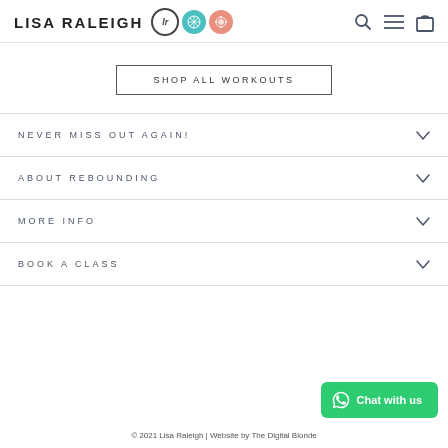LISA RALEIGH
SHOP ALL WORKOUTS
NEVER MISS OUT AGAIN!
ABOUT REBOUNDING
MORE INFO
BOOK A CLASS
Chat with us
© 2021 Lisa Raleigh | Website by The Digital Blonde